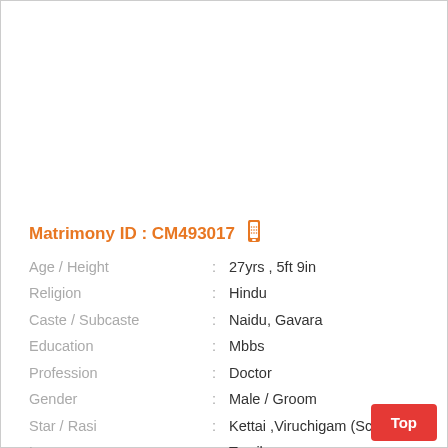Matrimony ID : CM493017
| Field | : | Value |
| --- | --- | --- |
| Age / Height | : | 27yrs , 5ft 9in |
| Religion | : | Hindu |
| Caste / Subcaste | : | Naidu, Gavara |
| Education | : | Mbbs |
| Profession | : | Doctor |
| Gender | : | Male / Groom |
| Star / Rasi | : | Kettai ,Viruchigam (Scorpio) ; |
| Language | : | Tamil |
| Location | : | Musiri |
| District | : | Tiruchirappalli |
| State | : | Tamil Nadu |
Top